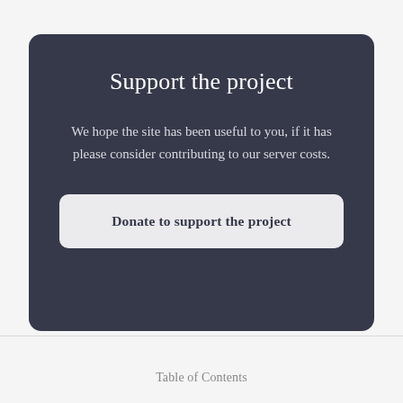Support the project
We hope the site has been useful to you, if it has please consider contributing to our server costs.
Donate to support the project
Table of Contents